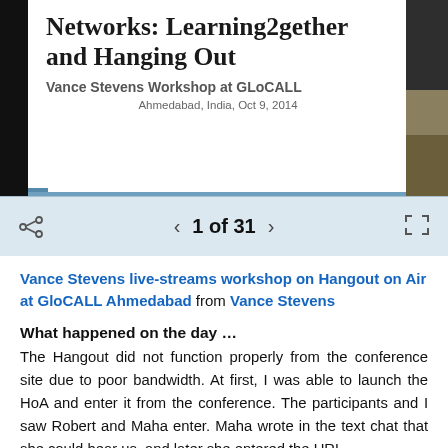[Figure (screenshot): Slide preview showing title 'Networks: Learning2gether and Hanging Out', subtitle 'Vance Stevens Workshop at GLoCALL', date 'Ahmedabad, India, Oct 9, 2014', with decorative color bars on the right side]
1 of 31 (navigation bar with share icon, back arrow, forward arrow, fullscreen icon)
Vance Stevens live-streams workshop on Hangout on Air at GloCALL Ahmedabad from Vance Stevens
What happened on the day …
The Hangout did not function properly from the conference site due to poor bandwidth. At first, I was able to launch the HoA and enter it from the conference. The participants and I saw Robert and Maha enter. Maha wrote in the text chat that she could hear us, and later she entered the URL